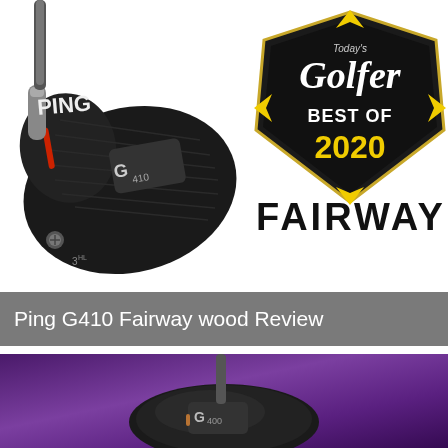[Figure (photo): PING G410 fairway wood golf club head, black with red accents and PING branding, shown from top-down angle on white background]
[Figure (logo): Today's Golfer Best of 2020 award badge, dark shield shape with yellow diamond accents, white text reading BEST OF and yellow text reading 2020]
FAIRWAY
Ping G410 Fairway wood Review
[Figure (photo): PING G400 fairway wood club head on purple/violet gradient background, shown from top angle]